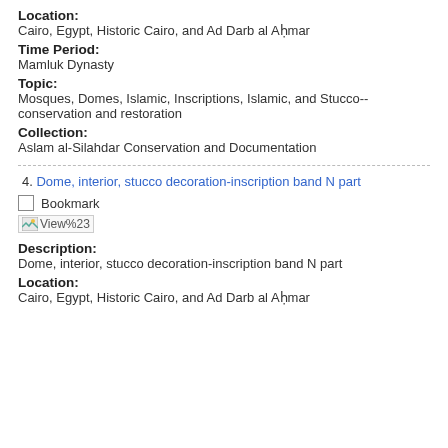Location:
Cairo, Egypt, Historic Cairo, and Ad Darb al Aḥmar
Time Period:
Mamluk Dynasty
Topic:
Mosques, Domes, Islamic, Inscriptions, Islamic, and Stucco--conservation and restoration
Collection:
Aslam al-Silahdar Conservation and Documentation
4. Dome, interior, stucco decoration-inscription band N part
Bookmark
[Figure (other): Broken image placeholder labeled View%23]
Description:
Dome, interior, stucco decoration-inscription band N part
Location:
Cairo, Egypt, Historic Cairo, and Ad Darb al Aḥmar